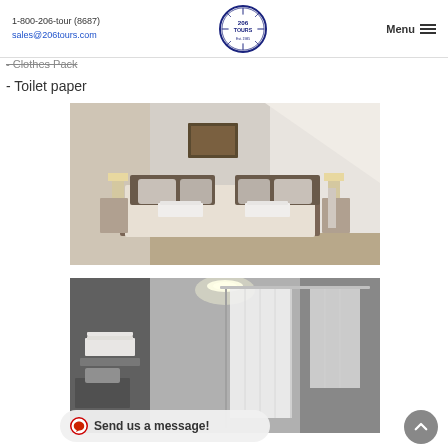1-800-206-tour (8687) | sales@206tours.com | Menu
- Clothes Pack
- Toilet paper
[Figure (photo): Hotel bedroom with double bed, gray upholstered headboard, white pillows, white towels at foot of bed, framed picture on wall, slanted ceiling/attic style room]
[Figure (photo): Hotel bathroom with marble-style walls, white shower curtain, ceiling light, towels stacked on shelf]